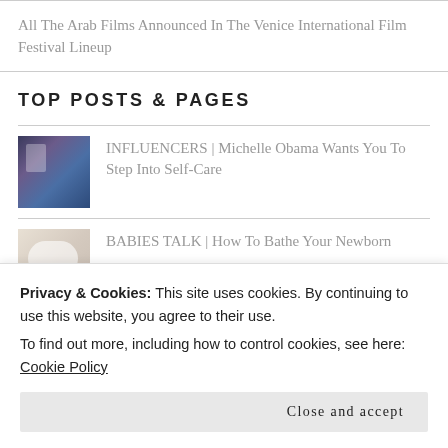All The Arab Films Announced In The Venice International Film Festival Lineup
TOP POSTS & PAGES
[Figure (photo): Thumbnail image for Michelle Obama influencers post]
INFLUENCERS | Michelle Obama Wants You To Step Into Self-Care
[Figure (photo): Thumbnail image for babies bathing post]
BABIES TALK | How To Bathe Your Newborn
[Figure (photo): Partially visible thumbnail]
INFLUENCERS | Michelle Obama Wins
Privacy & Cookies: This site uses cookies. By continuing to use this website, you agree to their use.
To find out more, including how to control cookies, see here: Cookie Policy
Close and accept